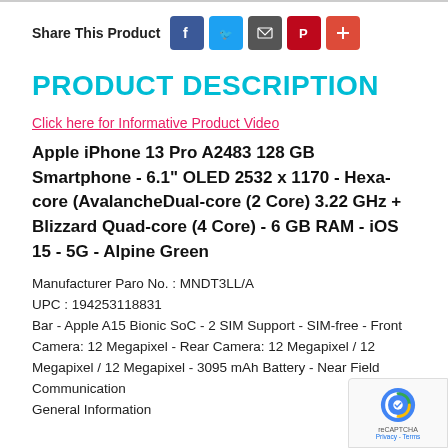Share This Product
PRODUCT DESCRIPTION
Click here for Informative Product Video
Apple iPhone 13 Pro A2483 128 GB Smartphone - 6.1" OLED 2532 x 1170 - Hexa-core (AvalancheDual-core (2 Core) 3.22 GHz + Blizzard Quad-core (4 Core) - 6 GB RAM - iOS 15 - 5G - Alpine Green
Manufacturer Paro No. : MNDT3LL/A
UPC : 194253118831
Bar - Apple A15 Bionic SoC - 2 SIM Support - SIM-free - Front Camera: 12 Megapixel - Rear Camera: 12 Megapixel / 12 Megapixel / 12 Megapixel - 3095 mAh Battery - Near Field Communication
General Information
[Figure (logo): reCAPTCHA badge with Google logo and Privacy/Terms links]